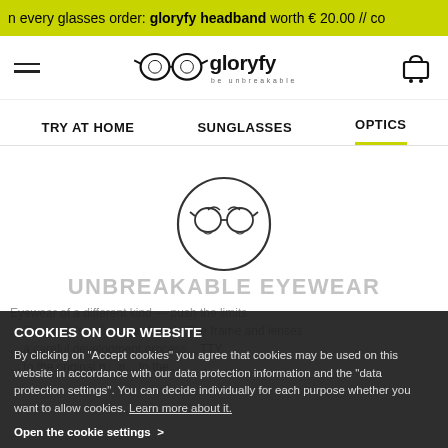n every glasses order: gloryfy headband worth € 20.00 // co
[Figure (logo): Gloryfy 'be unbreakable' brand logo with glasses icon]
TRY AT HOME   SUNGLASSES   OPTICS
[Figure (logo): Gloryfy circular glasses icon]
UNBREAKABLE EYEWEAR
Eyewear of a different kind — push the limits ... The world's only ... ger break. The frame and lenses ... a careful development process. TTY ... to the original p... n... to the...
COOKIES ON OUR WEBSITE
By clicking on "Accept cookies" you agree that cookies may be used on this website in accordance with our data protection information and the "data protection settings". You can decide individually for each purpose whether you want to allow cookies. Learn more about it.
Open the cookie settings >
ACCEPT COOKIES